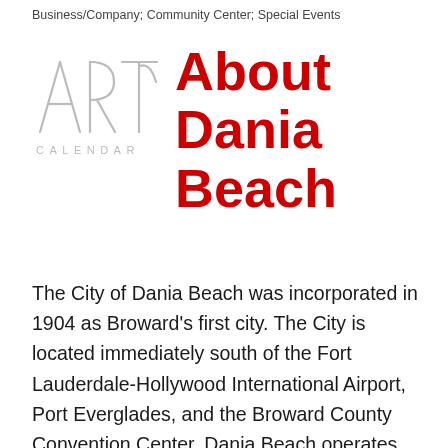Business/Company;  Community Center;  Special Events
[Figure (logo): Arts Calendar logo — stylized letters A, R, T, S in light gray with 'CALENDAR' text below]
About Dania Beach
The City of Dania Beach was incorporated in 1904 as Broward's first city. The City is located immediately south of the Fort Lauderdale-Hollywood International Airport, Port Everglades, and the Broward County Convention Center. Dania Beach operates under a Commission-City Manager form of